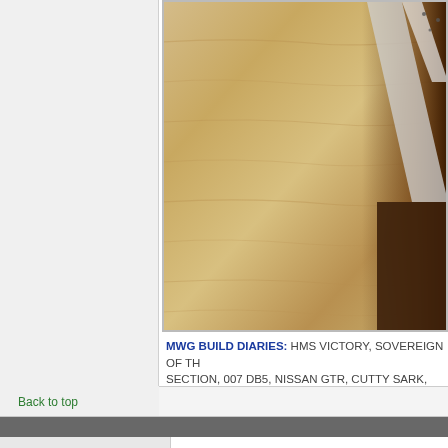[Figure (photo): Close-up photo of wood grain texture with a dark wooden piece and white/grey support structure visible at the right edge]
MWG BUILD DIARIES: HMS VICTORY, SOVEREIGN OF TH... SECTION, 007 DB5, NISSAN GTR, CUTTY SARK, RB7, AKA...
Back to top
#2 Posted : 07 June 2011 15:42:10
MWG
[Figure (logo): Circular gold/yellow badge icon with SUPERELITE text below, partially visible at bottom]
The above 5 pics together with the ones on this post show wh...